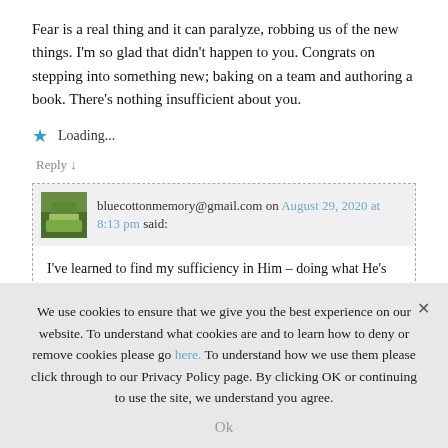Fear is a real thing and it can paralyze, robbing us of the new things. I'm so glad that didn't happen to you. Congrats on stepping into something new; baking on a team and authoring a book. There's nothing insufficient about you.
★ Loading...
Reply ↓
bluecottonmemory@gmail.com on August 29, 2020 at 8:13 pm said:
I've learned to find my sufficiency in Him – doing what He's called me to do. The world asks for numbers and publishing house bona fides – God just asks me to step and trust. That has given me a whole new perspective on what I did every day! Thanks so much for coming
We use cookies to ensure that we give you the best experience on our website. To understand what cookies are and to learn how to deny or remove cookies please go here. To understand how we use them please click through to our Privacy Policy page. By clicking OK or continuing to use the site, we understand you agree.
Ok